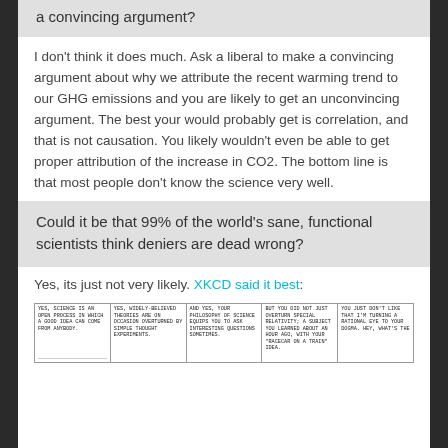a convincing argument?
I don't think it does much. Ask a liberal to make a convincing argument about why we attribute the recent warming trend to our GHG emissions and you are likely to get an unconvincing argument. The best your would probably get is correlation, and that is not causation. You likely wouldn't even be able to get proper attribution of the increase in CO2. The bottom line is that most people don't know the science very well.
Could it be that 99% of the world's sane, functional scientists think deniers are dead wrong?
Yes, its just not very likely. XKCD said it best:
[Figure (illustration): XKCD comic strip with 5 panels showing text about science being an open process, widely believed theories being overturned by simple thought experiments, philosophy of science, special relativity, and not liking being turned to dogma.]